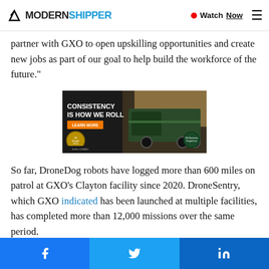MODERN SHIPPER | Watch Now
partner with GXO to open upskilling opportunities and create new jobs as part of our goal to help build the workforce of the future."
[Figure (photo): Advertisement for Old Dominion Freight Line showing trucks with text 'CONSISTENCY IS HOW WE ROLL' and a Learn More button, with award badge for 12 Straight Years.]
So far, DroneDog robots have logged more than 600 miles on patrol at GXO’s Clayton facility since 2020. DroneSentry, which GXO indicated has been launched at multiple facilities, has completed more than 12,000 missions over the same period.
You may also like: